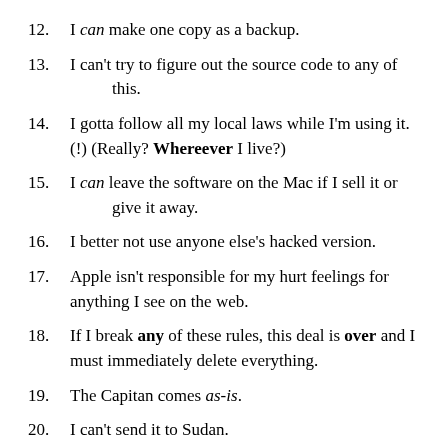12. I can make one copy as a backup.
13. I can't try to figure out the source code to any of this.
14. I gotta follow all my local laws while I'm using it. (!) (Really? Whereever I live?)
15. I can leave the software on the Mac if I sell it or give it away.
16. I better not use anyone else's hacked version.
17. Apple isn't responsible for my hurt feelings for anything I see on the web.
18. If I break any of these rules, this deal is over and I must immediately delete everything.
19. The Capitan comes as-is.
20. I can't send it to Sudan.